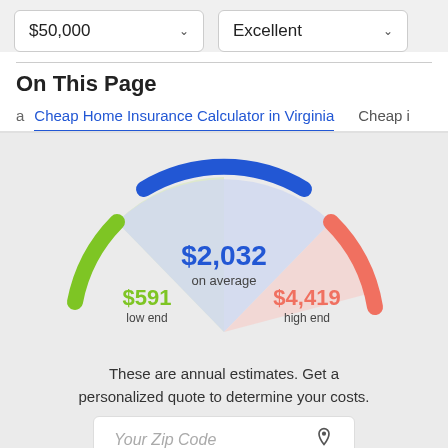$50,000
Excellent
On This Page
Cheap Home Insurance Calculator in Virginia
Cheap i
[Figure (infographic): Semi-circular gauge showing home insurance cost estimates: $591 low end (green arc), $2,032 on average (blue arc, center), $4,419 high end (red/salmon arc)]
These are annual estimates. Get a personalized quote to determine your costs.
Your Zip Code